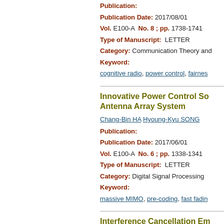Publication:
Publication Date: 2017/08/01
Vol. E100-A  No. 8 ; pp. 1738-1741
Type of Manuscript:  LETTER
Category: Communication Theory and
Keyword:
cognitive radio,  power control,  fairnes...
Innovative Power Control Sc... Antenna Array System
Chang-Bin HA  Hyoung-Kyu SONG
Publication:
Publication Date: 2017/06/01
Vol. E100-A  No. 6 ; pp. 1338-1341
Type of Manuscript:  LETTER
Category: Digital Signal Processing
Keyword:
massive MIMO,  pre-coding,  fast fadin...
Interference Cancellation Em... Power Control for MIMO Sy...